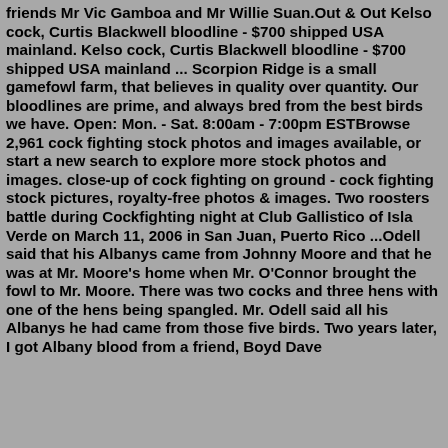friends Mr Vic Gamboa and Mr Willie Suan.Out & Out Kelso cock, Curtis Blackwell bloodline - $700 shipped USA mainland. Kelso cock, Curtis Blackwell bloodline - $700 shipped USA mainland ... Scorpion Ridge is a small gamefowl farm, that believes in quality over quantity. Our bloodlines are prime, and always bred from the best birds we have. Open: Mon. - Sat. 8:00am - 7:00pm ESTBrowse 2,961 cock fighting stock photos and images available, or start a new search to explore more stock photos and images. close-up of cock fighting on ground - cock fighting stock pictures, royalty-free photos & images. Two roosters battle during Cockfighting night at Club Gallistico of Isla Verde on March 11, 2006 in San Juan, Puerto Rico ...Odell said that his Albanys came from Johnny Moore and that he was at Mr. Moore's home when Mr. O'Connor brought the fowl to Mr. Moore. There was two cocks and three hens with one of the hens being spangled. Mr. Odell said all his Albanys he had came from those five birds. Two years later, I got Albany blood from a friend, Boyd Dave